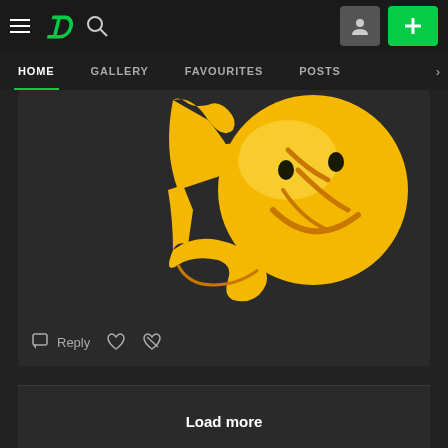DeviantArt navigation bar with hamburger menu, DA logo, search icon, user icon, and plus button
HOME | GALLERY | FAVOURITES | POSTS
[Figure (illustration): Partial view of a golden/yellow emoji-style smiley face with cartoon hands, on a dark background]
Reply ♡ ⊖
Load more